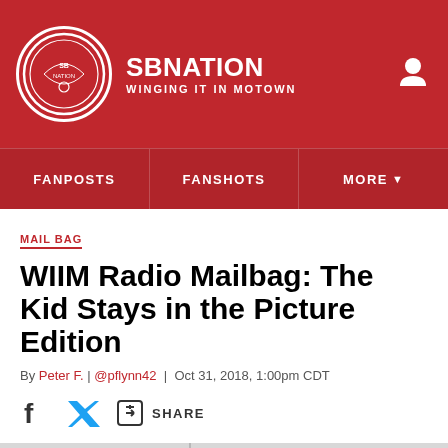SB NATION — WINGING IT IN MOTOWN
MAIL BAG
WIIM Radio Mailbag: The Kid Stays in the Picture Edition
By Peter F. | @pflynn42 | Oct 31, 2018, 1:00pm CDT
SHARE
[Figure (photo): Hockey net at an NHL arena with Verizon advertising board visible in the background. Text reads OFFICIAL PAINT and THE NHL.]